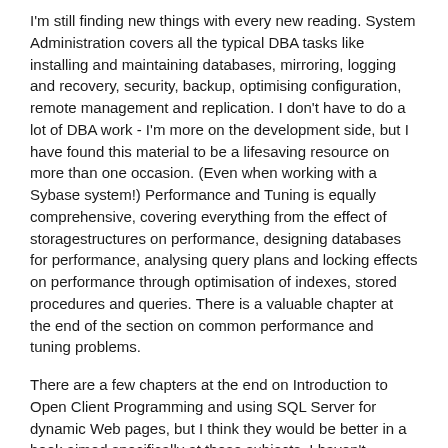I'm still finding new things with every new reading. System Administration covers all the typical DBA tasks like installing and maintaining databases, mirroring, logging and recovery, security, backup, optimising configuration, remote management and replication. I don't have to do a lot of DBA work - I'm more on the development side, but I have found this material to be a lifesaving resource on more than one occasion. (Even when working with a Sybase system!) Performance and Tuning is equally comprehensive, covering everything from the effect of storagestructures on performance, designing databases for performance, analysing query plans and locking effects on performance through optimisation of indexes, stored procedures and queries. There is a valuable chapter at the end of the section on common performance and tuning problems.
There are a few chapters at the end on Introduction to Open Client Programming and using SQL Server for dynamic Web pages, but I think they would be better in a book aimed specifically at those subjects. I haven't bothered much with them, but the rest of the book is a different story. I think it is a pretty good book, which would be a useful reference for anyone getting to grips with SQL Server 6.5.